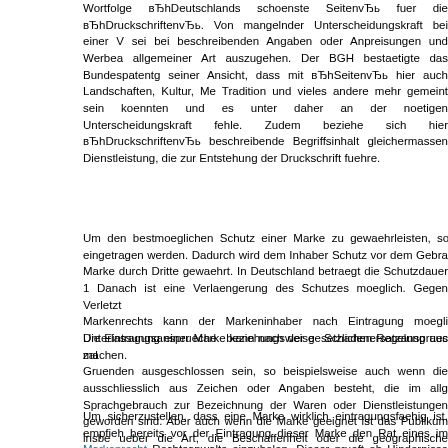Wortfolge вЂhDeutschlands schoenste SeitenvЂh fuer die вЂhDruckschriftenvЂh. Von mangelnder Unterscheidungskraft bei einer V sei bei beschreibenden Angaben oder Anpreisungen und Werbea allgemeiner Art auszugehen. Der BGH bestaetigte das Bundespatentg seiner Ansicht, dass mit вЂhSeitenvЂh hier auch Landschaften, Kultur, Me Tradition und vieles andere mehr gemeint sein koennten und es unter daher an der noetigen Unterscheidungskraft fehle. Zudem beziehe sich hier вЂhDruckschriftenvЂh beschreibende Begriffsinhalt gleichermassen Dienstleistung, die zur Entstehung der Druckschrift fuehre.
Um den bestmoeglichen Schutz einer Marke zu gewaehrleisten, soll eingetragen werden. Dadurch wird dem Inhaber Schutz vor dem Gebra Marke durch Dritte gewaehrt. In Deutschland betraegt die Schutzdauer 1 Danach ist eine Verlaengerung des Schutzes moeglich. Gegen Verletzun Markenrechts kann der Markeninhaber nach Eintragung moegli Unterlassungsansprueche beziehungsweise Schadenersatzansprueche machen.
Die Eintragung einer Marke kann nach der gesetzlichen Regelung aus za Gruenden ausgeschlossen sein, so beispielsweise auch wenn die ausschliesslich aus Zeichen oder Angaben besteht, die im allg Sprachgebrauch zur Bezeichnung der Waren oder Dienstleistungen geworden sind. Aber auch wenn die Marke geeignet ist das Publikum insbe ueber die Art, die Beschaffenheit oder die geographische Herkunft der Wa Dienstleistungen zu taeuschen
Um sicherzustellen, dass eine Marke wirklich eintragungsfaehig ist, empfieh bereits vor der Eintragung dieser Marke den Rat eines im Markenrecht Rechtsanwalts einzuholen. Dieser prueft ob Hindernisse oder Bedenken g